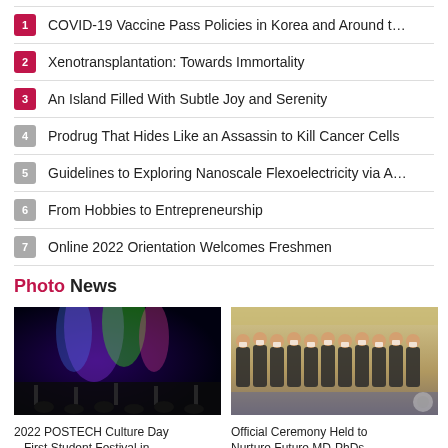1 COVID-19 Vaccine Pass Policies in Korea and Around t…
2 Xenotransplantation: Towards Immortality
3 An Island Filled With Subtle Joy and Serenity
4 Prodrug That Hides Like an Assassin to Kill Cancer Cells
5 Guidelines to Exploring Nanoscale Flexoelectricity via A…
6 From Hobbies to Entrepreneurship
7 Online 2022 Orientation Welcomes Freshmen
Photo News
[Figure (photo): Outdoor concert with colorful stage lights at 2022 POSTECH Culture Day festival]
[Figure (photo): Group of people in suits wearing masks at an official ceremony for MD-PhD program]
2022 POSTECH Culture Day – First Student Festival in
Official Ceremony Held to Nurture Future MD-PhDs